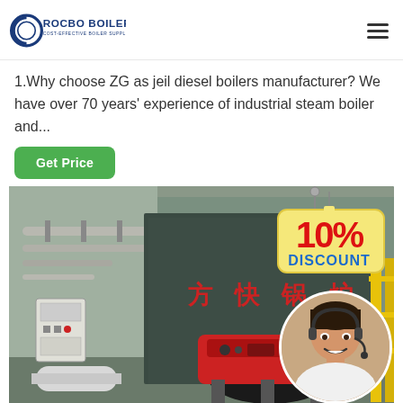ROCBO BOILER - COST-EFFECTIVE BOILER SUPPLIER
1.Why choose ZG as jeil diesel boilers manufacturer? We have over 70 years' experience of industrial steam boiler and...
Get Price
[Figure (photo): Industrial boiler room with red diesel boiler and Chinese characters on wall reading 方快锅炉 (Fangkuai Boiler), with a 10% DISCOUNT sign overlay and a customer service representative in a circular inset photo at bottom right.]